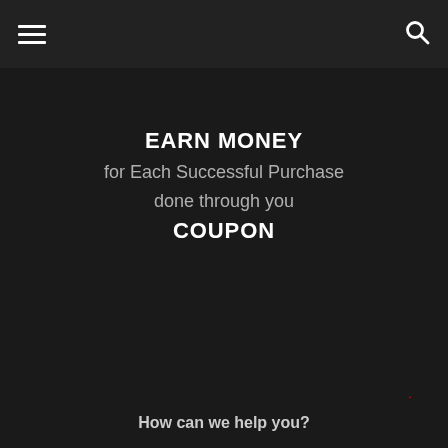≡  🔍
EARN MONEY
for Each Successful Purchase done through you
COUPON
How can we help you?